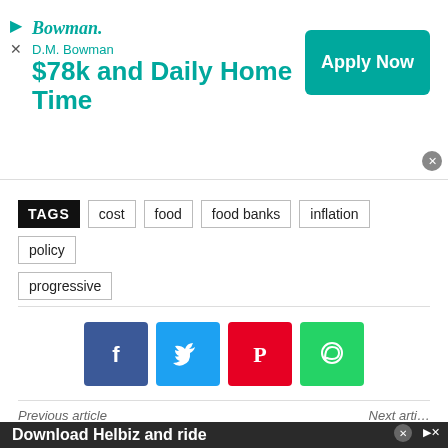[Figure (other): Advertisement banner for D.M. Bowman trucking company. Shows Bowman logo, text '$78k and Daily Home Time', and a teal 'Apply Now' button.]
TAGS  cost  food  food banks  inflation  policy  progressive
[Figure (other): Social media share buttons: Facebook (blue), Twitter (light blue), Pinterest (red), WhatsApp (green)]
Previous article
Next article
[Figure (other): Bottom advertisement banner with dark background showing text 'Download Helbiz and ride' with a scooter image.]